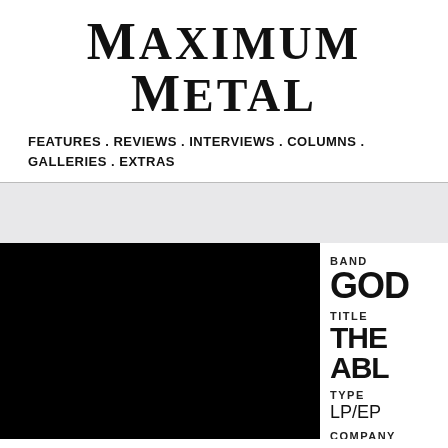Maximum Metal
FEATURES . REVIEWS . INTERVIEWS . COLUMNS . GALLERIES . EXTRAS
[Figure (photo): Black album art image (fully black rectangle) for a music release]
BAND
GOD
TITLE
THE ABL
TYPE
LP/EP
COMPANY